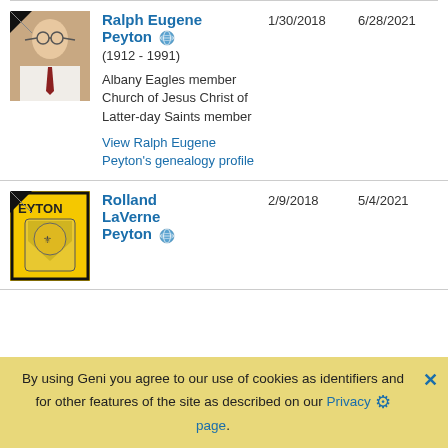[Figure (photo): Photo of Ralph Eugene Peyton, elderly man with glasses and tie, black ribbon overlay in top-left corner]
Ralph Eugene Peyton (1912 - 1991)
Albany Eagles member Church of Jesus Christ of Latter-day Saints member
View Ralph Eugene Peyton's genealogy profile
1/30/2018
6/28/2021
[Figure (illustration): Yellow and black logo with text PEYTON and a coat of arms / family crest image, black ribbon overlay in top-left corner]
Rolland LaVerne Peyton
2/9/2018
5/4/2021
By using Geni you agree to our use of cookies as identifiers and for other features of the site as described on our Privacy page.